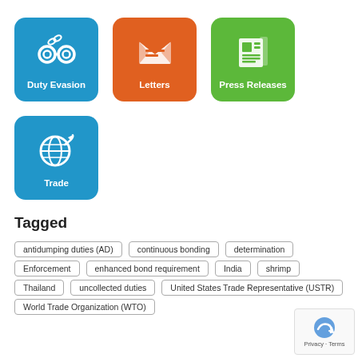[Figure (infographic): Three colored icon boxes in a row: blue 'Duty Evasion' with handcuffs icon, orange 'Letters' with envelope icon, green 'Press Releases' with newspaper icon. Below: blue 'Trade' with globe/arrow icon.]
Tagged
antidumping duties (AD)
continuous bonding
determination
Enforcement
enhanced bond requirement
India
shrimp
Thailand
uncollected duties
United States Trade Representative (USTR)
World Trade Organization (WTO)